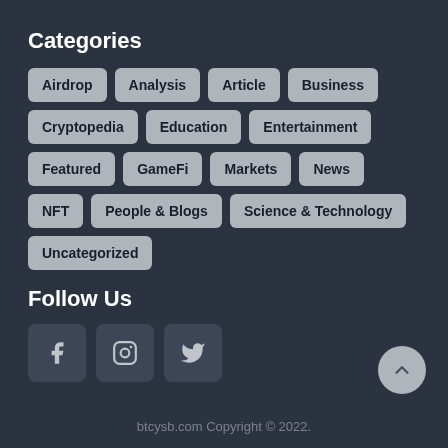Categories
Airdrop
Analysis
Article
Business
Cryptopedia
Education
Entertainment
Featured
GameFi
Markets
News
NFT
People & Blogs
Science & Technology
Uncategorized
Follow Us
btcysb.com Copyright © 2022.